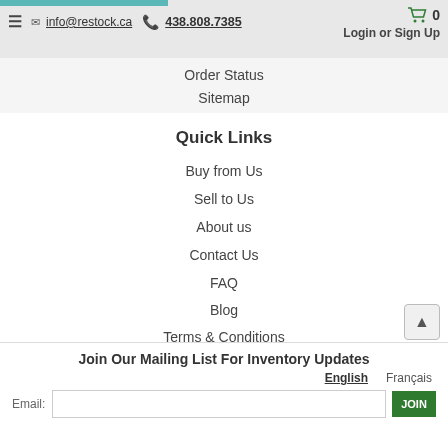info@restock.ca  438.808.7385  Login or Sign Up  (cart: 0)
Order Status
Sitemap
Quick Links
Buy from Us
Sell to Us
About us
Contact Us
FAQ
Blog
Terms & Conditions
Privacy Policy
Join Our Mailing List For Inventory Updates
English  Français
Email:  [input]  JOIN